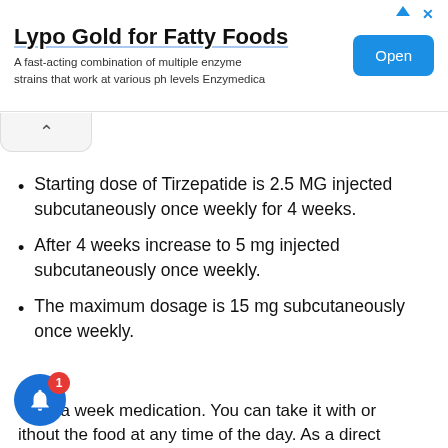[Figure (screenshot): Advertisement banner for 'Lypo Gold for Fatty Foods' by Enzymedica with an 'Open' button]
Starting dose of Tirzepatide is 2.5 MG injected subcutaneously once weekly for 4 weeks.
After 4 weeks increase to 5 mg injected subcutaneously once weekly.
The maximum dosage is 15 mg subcutaneously once weekly.
nce a week medication. You can take it with or ithout the food at any time of the day. As a direct...